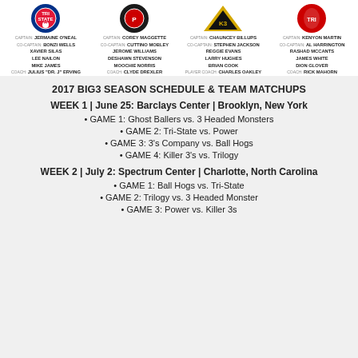[Figure (infographic): Four team logos for Tri-State, Power, Killer 3s, and Trilogy basketball teams]
CAPTAIN: JERMAINE O'NEAL
CO-CAPTAIN: BONZI WELLS
XAVIER SILAS
LEE NAILON
MIKE JAMES
COACH: JULIUS "DR. J" ERVING
CAPTAIN: COREY MAGGETTE
CO-CAPTAIN: CUTTINO MOBLEY
JEROME WILLIAMS
DESHAWN STEVENSON
MOOCHIE NORRIS
COACH: CLYDE DREXLER
CAPTAIN: CHAUNCEY BILLUPS
CO-CAPTAIN: STEPHEN JACKSON
REGGIE EVANS
LARRY HUGHES
BRIAN COOK
PLAYER COACH: CHARLES OAKLEY
CAPTAIN: KENYON MARTIN
CO-CAPTAIN: AL HARRINGTON
RASHAD MCCANTS
JAMES WHITE
DION GLOVER
COACH: RICK MAHORN
2017 BIG3 SEASON SCHEDULE & TEAM MATCHUPS
WEEK 1 | June 25: Barclays Center | Brooklyn, New York
GAME 1: Ghost Ballers vs. 3 Headed Monsters
GAME 2: Tri-State vs. Power
GAME 3: 3's Company vs. Ball Hogs
GAME 4: Killer 3's vs. Trilogy
WEEK 2 | July 2: Spectrum Center | Charlotte, North Carolina
GAME 1: Ball Hogs vs. Tri-State
GAME 2: Trilogy vs. 3 Headed Monster
GAME 3: Power vs. Killer 3s